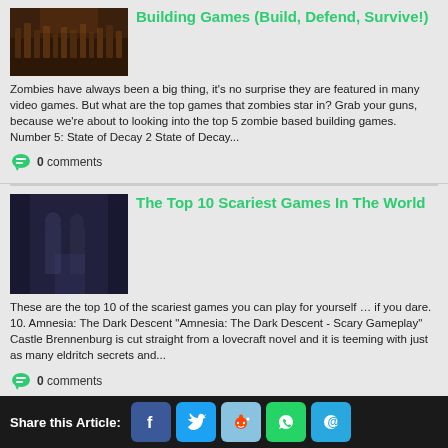[Figure (photo): Dark image of zombie game scene]
Building Games (Build, Defend, Survive!)
Zombies have always been a big thing, it's no surprise they are featured in many video games. But what are the top games that zombies star in? Grab your guns, because we're about to looking into the top 5 zombie based building games. Number 5: State of Decay 2 State of Decay...
0 comments
[Figure (photo): Dark moody screenshot of scary game with two figures]
The Top 10 Scariest Games In The World
These are the top 10 of the scariest games you can play for yourself … if you dare. 10. Amnesia: The Dark Descent "Amnesia: The Dark Descent - Scary Gameplay" Castle Brennenburg is cut straight from a lovecraft novel and it is teeming with just as many eldritch secrets and...
0 comments
Share this Article: Facebook Twitter Reddit WhatsApp Email